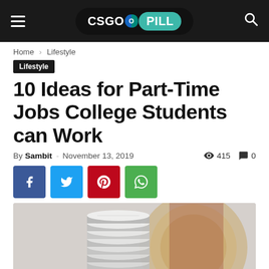CSGOPILL
Home › Lifestyle
Lifestyle
10 Ideas for Part-Time Jobs College Students can Work
By Sambit - November 13, 2019   415   0
[Figure (photo): Stack of silver coins with a blurred clock in the background]